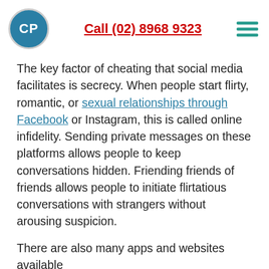CP | Call (02) 8968 9323
The key factor of cheating that social media facilitates is secrecy. When people start flirty, romantic, or sexual relationships through Facebook or Instagram, this is called online infidelity. Sending private messages on these platforms allows people to keep conversations hidden. Friending friends of friends allows people to initiate flirtatious conversations with strangers without arousing suspicion.
There are also many apps and websites available